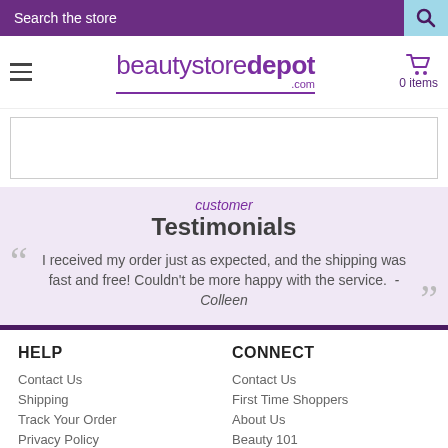Search the store
[Figure (logo): beautystoredepot.com logo with hamburger menu and cart showing 0 items]
I received my order just as expected, and the shipping was fast and free! Couldn't be more happy with the service. -Colleen
customer Testimonials
Contact Us
Shipping
Track Your Order
Privacy Policy
Terms & Conditions
*Brand Exclusions
Contact Us
First Time Shoppers
About Us
Beauty 101
Beauty Scoop blog
What Our Customers Say